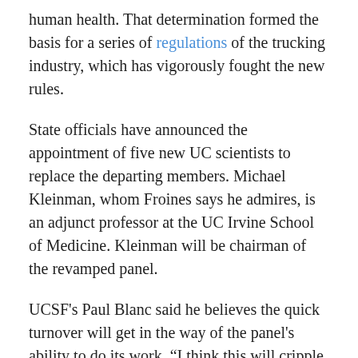human health. That determination formed the basis for a series of regulations of the trucking industry, which has vigorously fought the new rules.
State officials have announced the appointment of five new UC scientists to replace the departing members. Michael Kleinman, whom Froines says he admires, is an adjunct professor at the UC Irvine School of Medicine. Kleinman will be chairman of the revamped panel.
UCSF's Paul Blanc said he believes the quick turnover will get in the way of the panel's ability to do its work. “I think this will cripple the committee,” he said “certainly in the short term.”
Under fire from industry, scientific panel is ‘gutted’ | California Watch